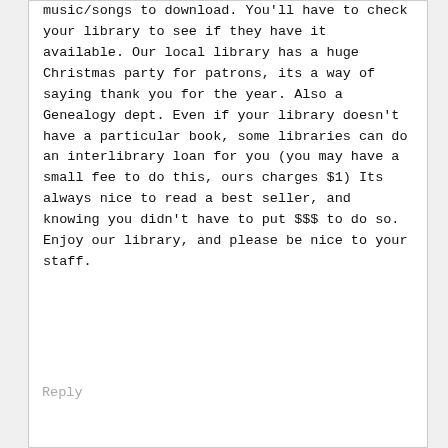music/songs to download. You'll have to check your library to see if they have it available. Our local library has a huge Christmas party for patrons, its a way of saying thank you for the year. Also a Genealogy dept. Even if your library doesn't have a particular book, some libraries can do an interlibrary loan for you (you may have a small fee to do this, ours charges $1) Its always nice to read a best seller, and knowing you didn't have to put $$$ to do so. Enjoy our library, and please be nice to your staff.
Reply